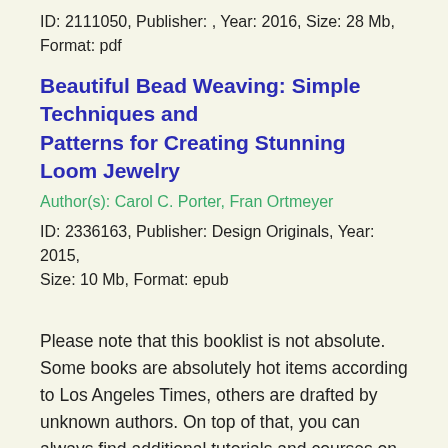ID: 2111050, Publisher: , Year: 2016, Size: 28 Mb, Format: pdf
Beautiful Bead Weaving: Simple Techniques and Patterns for Creating Stunning Loom Jewelry
Author(s): Carol C. Porter, Fran Ortmeyer
ID: 2336163, Publisher: Design Originals, Year: 2015, Size: 10 Mb, Format: epub
Please note that this booklist is not absolute. Some books are absolutely hot items according to Los Angeles Times, others are drafted by unknown authors. On top of that, you can always find additional tutorials and courses on Coursera, Udemy or edX, for example. Are there any other relevant links you could recommend? Leave a comment if